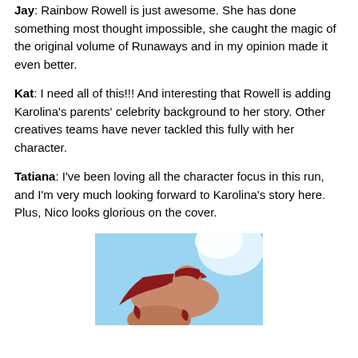Jay: Rainbow Rowell is just awesome. She has done something most thought impossible, she caught the magic of the original volume of Runaways and in my opinion made it even better.
Kat: I need all of this!!! And interesting that Rowell is adding Karolina’s parents’ celebrity background to her story. Other creatives teams have never tackled this fully with her character.
Tatiana: I’ve been loving all the character focus in this run, and I’m very much looking forward to Karolina’s story here. Plus, Nico looks glorious on the cover.
[Figure (illustration): Comic book cover art showing a character with red hair flying, with a light blue sky background and partial figure visible at bottom.]